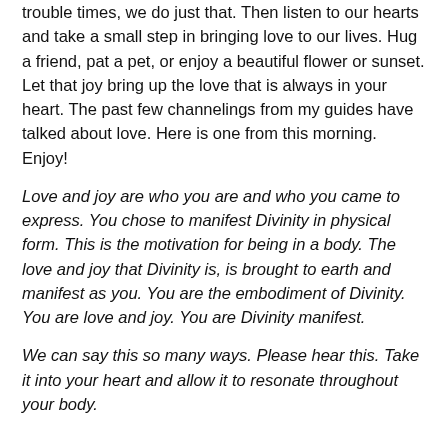trouble times, we do just that. Then listen to our hearts and take a small step in bringing love to our lives. Hug a friend, pat a pet, or enjoy a beautiful flower or sunset. Let that joy bring up the love that is always in your heart. The past few channelings from my guides have talked about love. Here is one from this morning. Enjoy!
Love and joy are who you are and who you came to express. You chose to manifest Divinity in physical form. This is the motivation for being in a body. The love and joy that Divinity is, is brought to earth and manifest as you. You are the embodiment of Divinity. You are love and joy. You are Divinity manifest.
We can say this so many ways. Please hear this. Take it into your heart and allow it to resonate throughout your body.